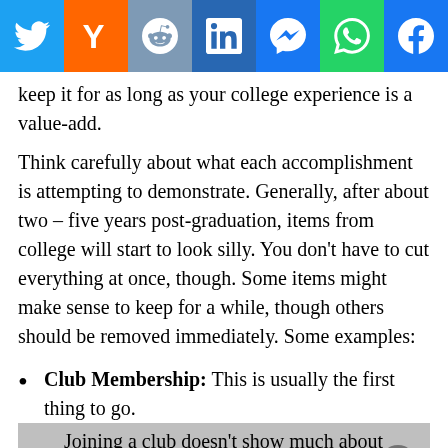[Figure (infographic): Social sharing bar with icons: Twitter, YCombinator, Reddit, LinkedIn, Messenger, WhatsApp, Facebook]
keep it for as long as your college experience is a value-add.
Think carefully about what each accomplishment is attempting to demonstrate. Generally, after about two – five years post-graduation, items from college will start to look silly. You don't have to cut everything at once, though. Some items might make sense to keep for a while, though others should be removed immediately. Some examples:
Club Membership: This is usually the first thing to go. Joining a club doesn't show much about your skills or experience.
Leadership Positions: Many club leadership positions don't mean much other than that you were the most...